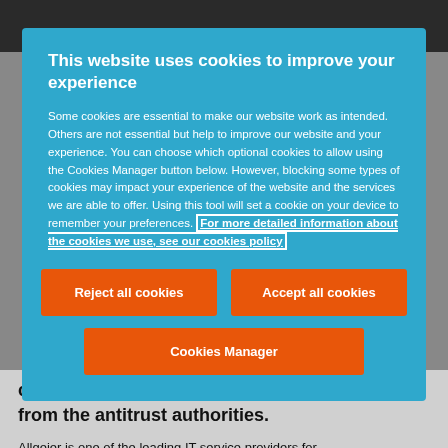This website uses cookies to improve your experience
Some cookies are essential to make our website work as intended. Others are not essential but help to improve our website and your experience. You can choose which optional cookies to allow using the Cookies Manager button below. However, blocking some types of cookies may impact your experience of the website and the services we are able to offer. Using this tool will set a cookie on your device to remember your preferences. For more detailed information about the cookies we use, see our cookies policy
Reject all cookies
Accept all cookies
Cookies Manager
complete once approval has been obtained from the antitrust authorities.
Allgeier is one of the leading IT service providers for